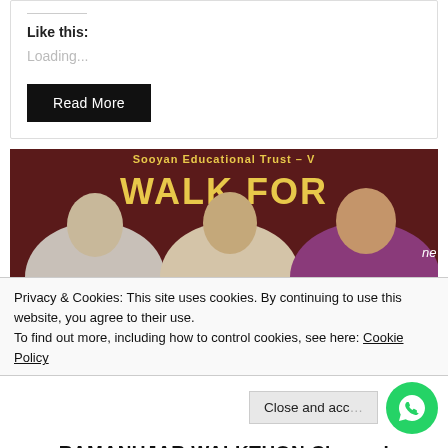Like this:
Loading...
Read More
[Figure (photo): Photo of three men standing in front of a banner reading WALK FOR with Sooyan Educational Trust text. The men appear to be at a walkathon event in Chennai.]
Privacy & Cookies: This site uses cookies. By continuing to use this website, you agree to their use.
To find out more, including how to control cookies, see here: Cookie Policy
Close and accept
RAMANUJAR WALKTHON Chennai